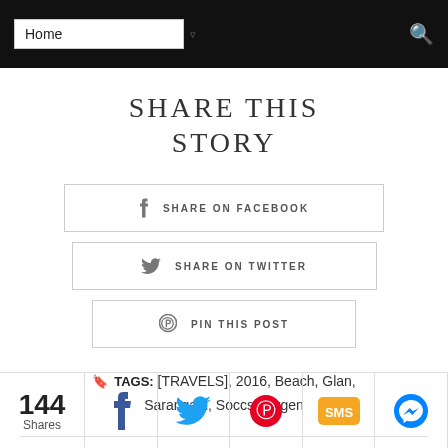Home (navigation bar)
SHARE THIS STORY
SHARE ON FACEBOOK
SHARE ON TWITTER
PIN THIS POST
TAGS: [TRAVELS], 2016, Beach, Glan, Sarangani, Soccsksargen
144 Shares